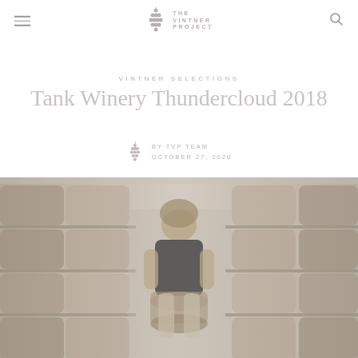The Vintner Project — navigation header with hamburger menu, logo, and search icon
VINTNER SELECTIONS
Tank Winery Thundercloud 2018
BY TVP TEAM
OCTOBER 27, 2020
[Figure (photo): A man with curly hair sitting on a wine barrel, surrounded by rows of oak barrels in a winery cellar. He is wearing a dark t-shirt with winery branding.]